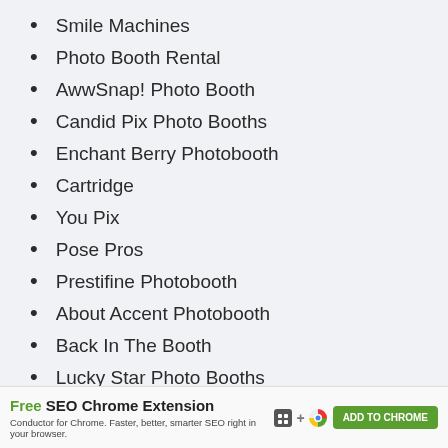Smile Machines
Photo Booth Rental
AwwSnap! Photo Booth
Candid Pix Photo Booths
Enchant Berry Photobooth
Cartridge
You Pix
Pose Pros
Prestifine Photobooth
About Accent Photobooth
Back In The Booth
Lucky Star Photo Booths
Free SEO Chrome Extension — Conductor for Chrome. Faster, better, smarter SEO right in your browser. ADD TO CHROME